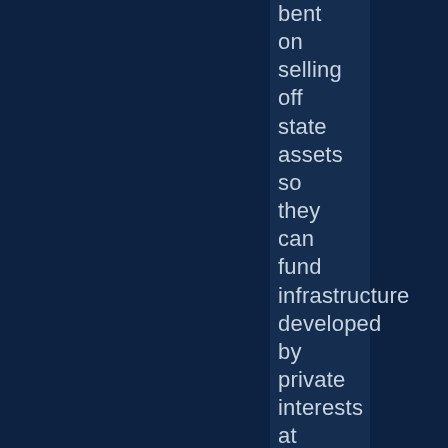bent on selling off state assets so they can fund infrastructure developed by private interests at higher costs than would be incurred were